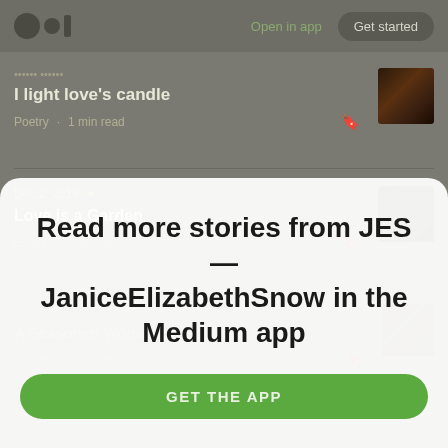Open in app  Get started
I light love's candle
Poetry  1 min read
Dec 2, 2018
Love is a Garden
Essay  3 min read
A Seasoned Woman on Bourbon Street
Travel  6 min read
Read more stories from JES — JaniceElizabethSnow in the Medium app
GET THE APP